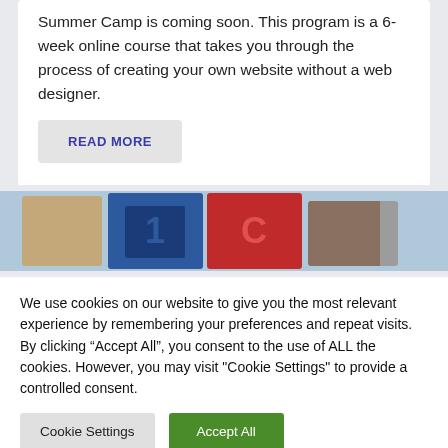Summer Camp is coming soon. This program is a 6-week online course that takes you through the process of creating your own website without a web designer.
READ MORE
[Figure (photo): Partial view of colorful alphabet block toys or signs in blue and red, blurred background]
We use cookies on our website to give you the most relevant experience by remembering your preferences and repeat visits. By clicking “Accept All”, you consent to the use of ALL the cookies. However, you may visit "Cookie Settings" to provide a controlled consent.
Cookie Settings
Accept All